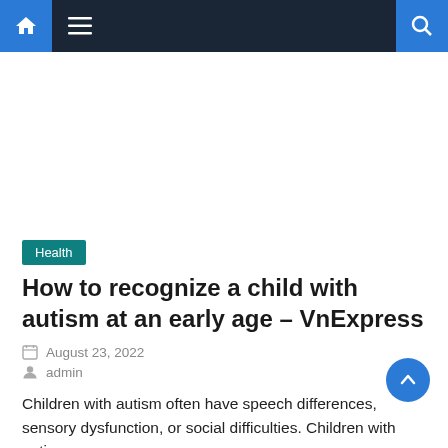Navigation bar with home, menu, and search icons
[Figure (other): Advertisement/blank space area]
Health
How to recognize a child with autism at an early age – VnExpress
August 23, 2022
admin
Children with autism often have speech differences, sensory dysfunction, or social difficulties. Children with autism are